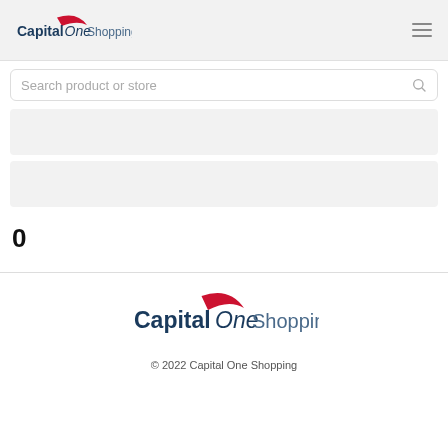Capital One Shopping
Search product or store
[Figure (other): Gray placeholder content block 1]
[Figure (other): Gray placeholder content block 2]
0
[Figure (logo): Capital One Shopping logo in footer]
© 2022 Capital One Shopping